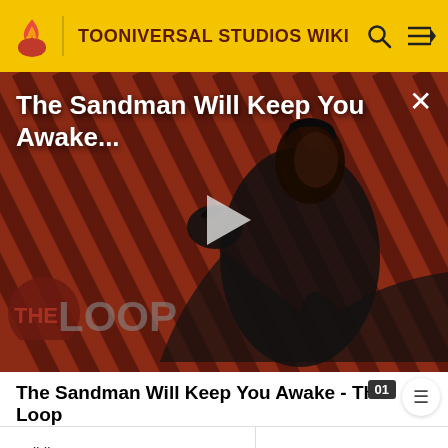TOONIVERSAL STUDIOS WIKI
[Figure (screenshot): Video thumbnail showing a dark figure in a black cloak with a raven on a diagonal striped red and black background. 'THE LOOP' logo visible in lower left. Play button in center. Title overlay reads 'The Sandman Will Keep You Awake...' with a close (X) button top right.]
The Sandman Will Keep You Awake - The Loop
| Buildings |  |
| Anywhere |  |